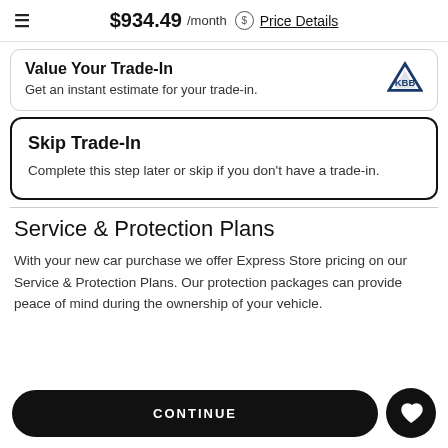≡  $934.49 /month  $ Price Details
Value Your Trade-In
Get an instant estimate for your trade-in.
Skip Trade-In
Complete this step later or skip if you don't have a trade-in.
Service & Protection Plans
With your new car purchase we offer Express Store pricing on our Service & Protection Plans. Our protection packages can provide peace of mind during the ownership of your vehicle.
CONTINUE